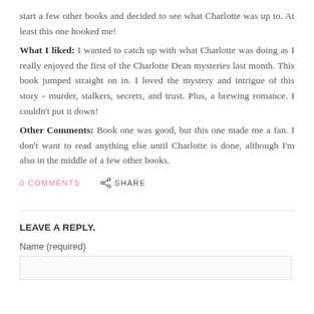start a few other books and decided to see what Charlotte was up to. At least this one hooked me!
What I liked: I wanted to catch up with what Charlotte was doing as I really enjoyed the first of the Charlotte Dean mysteries last month. This book jumped straight on in. I loved the mystery and intrigue of this story - murder, stalkers, secrets, and trust. Plus, a brewing romance. I couldn't put it down!
Other Comments: Book one was good, but this one made me a fan. I don't want to read anything else until Charlotte is done, although I'm also in the middle of a few other books.
0 COMMENTS   SHARE
LEAVE A REPLY.
Name (required)